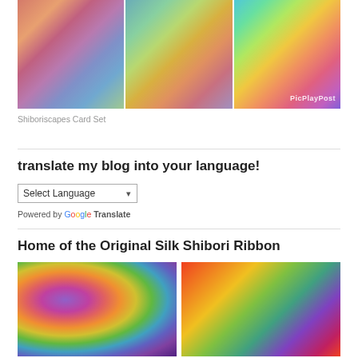[Figure (photo): Three photos side by side showing colorful pleated/folded shibori silk fabric in pink, purple, blue, green and teal tones. Third image has PicPlayPost watermark.]
Shiboriscapes Card Set
translate my blog into your language!
[Figure (screenshot): Google Translate language selector widget with 'Select Language' dropdown and 'Powered by Google Translate' text]
Home of the Original Silk Shibori Ribbon
[Figure (photo): Two photos side by side showing colorful silk shibori ribbon bundles in vivid multicolored hues - purple, pink, orange, green and rainbow twisted strands.]